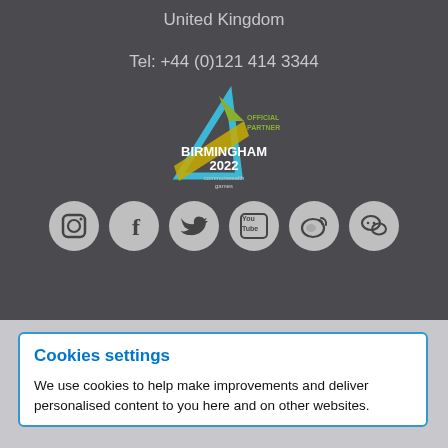United Kingdom
Tel: +44 (0)121 414 3344
[Figure (logo): Birmingham 2022 Commonwealth Games Official Partner logo with geometric triangles in blue, green, and yellow]
[Figure (infographic): Six social media icons in gray circles: Instagram, Facebook, Twitter, YouTube, Weibo, WeChat]
Cookies settings
We use cookies to help make improvements and deliver personalised content to you here and on other websites.